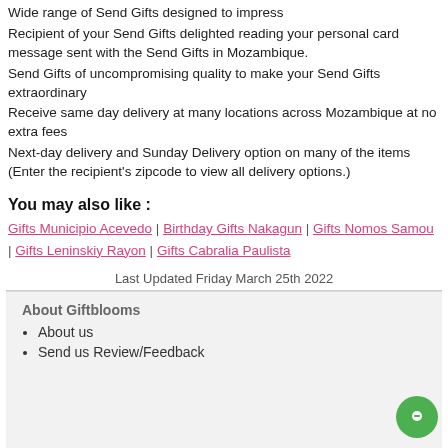Wide range of Send Gifts designed to impress
Recipient of your Send Gifts delighted reading your personal card message sent with the Send Gifts in Mozambique.
Send Gifts of uncompromising quality to make your Send Gifts extraordinary
Receive same day delivery at many locations across Mozambique at no extra fees
Next-day delivery and Sunday Delivery option on many of the items (Enter the recipient's zipcode to view all delivery options.)
You may also like :
Gifts Municipio Acevedo | Birthday Gifts Nakagun | Gifts Nomos Samou | Gifts Leninskiy Rayon | Gifts Cabralia Paulista
Last Updated Friday March 25th 2022
About Giftblooms
About us
Send us Review/Feedback
Help & Support
Contact
FAQ
Newsletter